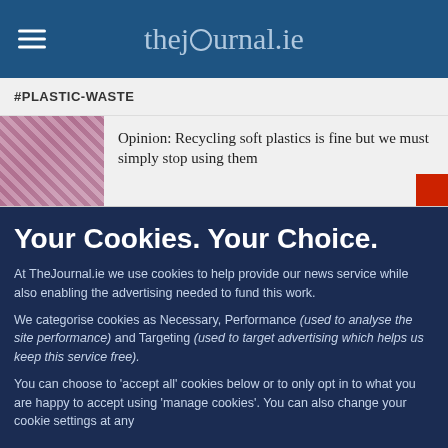thejournal.ie
#PLASTIC-WASTE
Opinion: Recycling soft plastics is fine but we must simply stop using them
Your Cookies. Your Choice.
At TheJournal.ie we use cookies to help provide our news service while also enabling the advertising needed to fund this work.
We categorise cookies as Necessary, Performance (used to analyse the site performance) and Targeting (used to target advertising which helps us keep this service free).
You can choose to 'accept all' cookies below or to only opt in to what you are happy to accept using 'manage cookies'. You can also change your cookie settings at any